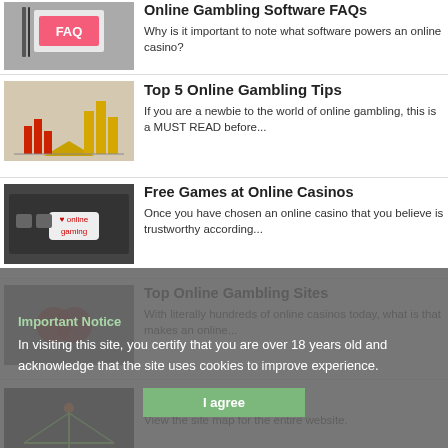Online Gambling Software FAQs – Why is it important to note what software powers an online casino?
Top 5 Online Gambling Tips – If you are a newbie to the world of online gambling, this is a MUST READ before...
Free Games at Online Casinos – Once you have chosen an online casino that you believe is trustworthy according...
Top Online Gambling Sites – With literally hundreds of online casinos today, what is that makes an online...
Important Notice
In visiting this site, you certify that you are over 18 years old and acknowledge that the site uses cookies to improve experience.
Sitemap – View the site map for the entire website.
Contact Us